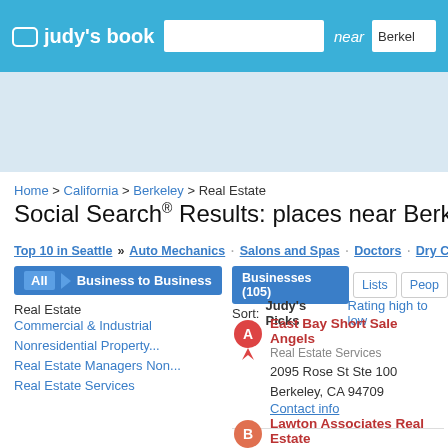judy's book  [search bar]  near  Berkel
[Figure (screenshot): Ad banner area with light blue background]
Home > California > Berkeley > Real Estate
Social Search® Results: places near Berkeley, CA (0.0...
Top 10 in Seattle » Auto Mechanics · Salons and Spas · Doctors · Dry Cleaning ·
All  Business to Business
Real Estate
Commercial & Industrial
Nonresidential Property...
Real Estate Managers Non...
Real Estate Services
Businesses (105)  Lists  Peop...
Sort: Judy's Picks  Rating high to low
East Bay Short Sale Angels
Real Estate Services
2095 Rose St Ste 100
Berkeley, CA 94709
Contact info
Lawton Associates Real Estate